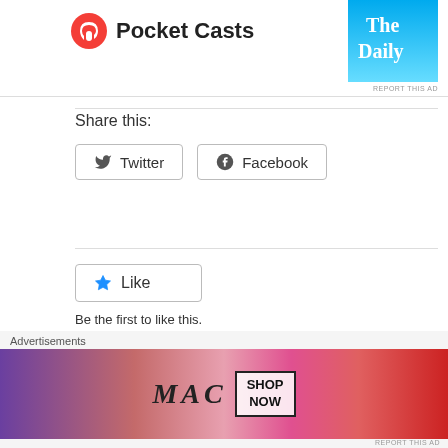[Figure (logo): Pocket Casts logo with red circular icon and bold text]
[Figure (screenshot): The Daily podcast advertisement banner in blue]
Share this:
[Figure (other): Twitter share button]
[Figure (other): Facebook share button]
[Figure (other): Like button with blue star icon]
Be the first to like this.
Author: Brendan Campbell
Blogging about the Boston Red Sox since April '17. Also support Tottenham Hotspur
Advertisements
[Figure (other): MAC cosmetics advertisement banner with lipsticks and SHOP NOW button]